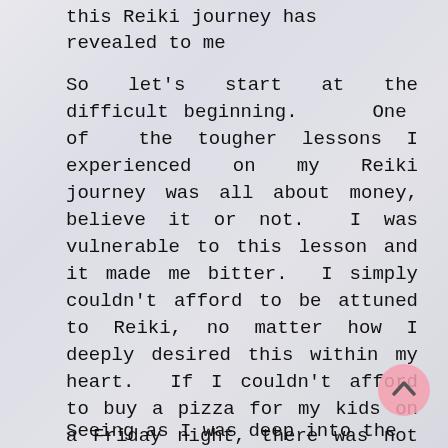this Reiki journey has revealed to me
So let's start at the difficult beginning. One of the tougher lessons I experienced on my Reiki journey was all about money, believe it or not. I was vulnerable to this lesson and it made me bitter. I simply couldn't afford to be attuned to Reiki, no matter how I deeply desired this within my heart. If I couldn't afford to buy a pizza for my kids on a Friday night, there was not way I was going to be able to buy my way into becoming a Reiki Healer, the costs were simply too much.
Seeing as I was deep into the